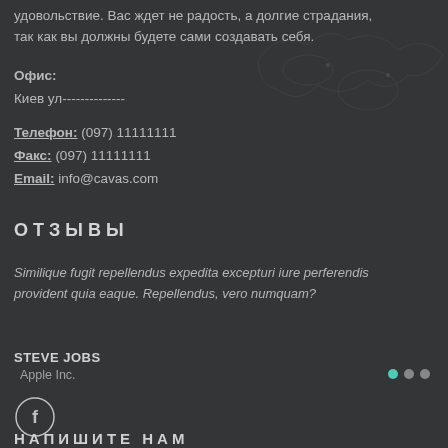удовольствие. Вас ждет не радость, а долгие страдания, так как вы должны будете сами создавать себя.
Офис:
Киев ул--------------
Телефон: (097) 11111111
Факс: (097) 11111111
Email: info@cavas.com
ОТЗЫВЫ
Similique fugit repellendus expedita excepturi iure perferendis provident quia eaque. Repellendus, vero numquam?
STEVE JOBS
Apple Inc.
[Figure (illustration): Three dots navigation indicator: teal, gray, gray]
[Figure (illustration): Facebook icon circle with letter f]
НАПИШИТЕ НАМ